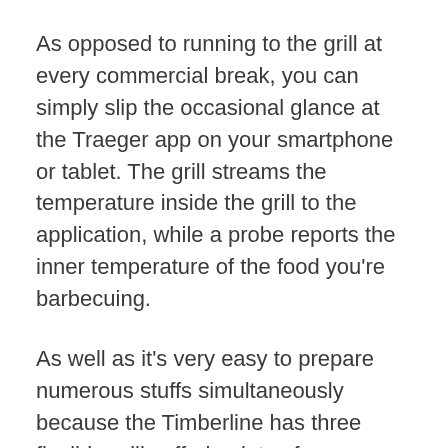As opposed to running to the grill at every commercial break, you can simply slip the occasional glance at the Traeger app on your smartphone or tablet. The grill streams the temperature inside the grill to the application, while a probe reports the inner temperature of the food you're barbecuing.
As well as it's very easy to prepare numerous stuffs simultaneously because the Timberline has three flexible grills offering lots of barbecuing surface. As Traeger puts it, there's enough capacity here to prepare 9 chickens, 8 rib racks, or six pork butts simultaneously.
The Timberline 850 is also geared up with a monochrome LCD that shows the grill as well as